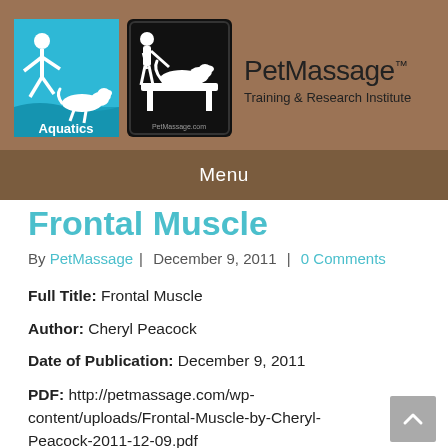[Figure (logo): PetMassage Aquatics logo - blue background with white figure and swimming dog, text 'Aquatics']
[Figure (logo): PetMassage icon logo - black background with white figures of person massaging dog on table, petmassage.com text]
[Figure (logo): PetMassage Training & Research Institute text brand logo]
Menu
Frontal Muscle
By PetMassage | December 9, 2011 | 0 Comments
Full Title: Frontal Muscle
Author: Cheryl Peacock
Date of Publication: December 9, 2011
PDF: http://petmassage.com/wp-content/uploads/Frontal-Muscle-by-Cheryl-Peacock-2011-12-09.pdf